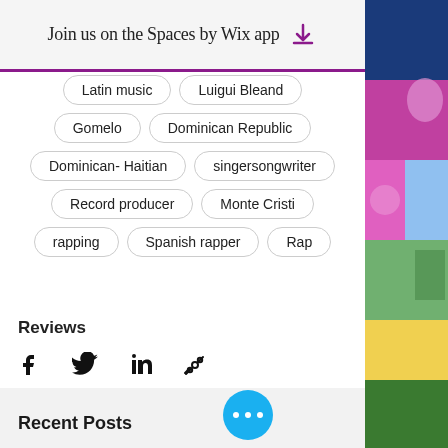Join us on the Spaces by Wix app
Latin music
Luigui Bleand
Gomelo
Dominican Republic
Dominican- Haitian
singersongwriter
Record producer
Monte Cristi
rapping
Spanish rapper
Rap
Reviews
Social share icons: Facebook, Twitter, LinkedIn, Link
16 views, comments
Recent Posts